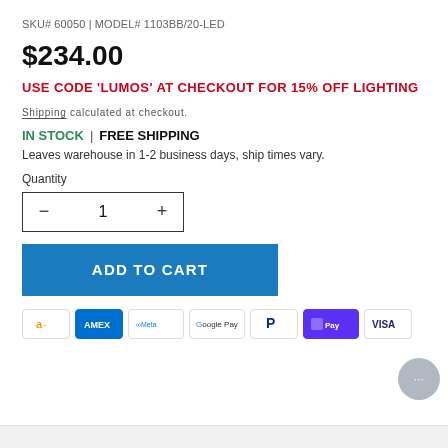SKU# 60050 | MODEL# 1103BB/20-LED
$234.00
USE CODE 'LUMOS' AT CHECKOUT FOR 15% OFF LIGHTING
Shipping calculated at checkout.
IN STOCK | FREE SHIPPING
Leaves warehouse in 1-2 business days, ship times vary.
Quantity
1
ADD TO CART
[Figure (other): Payment method icons: Amazon, AMEX, Meta, Google Pay, PayPal, ShopPay, VISA]